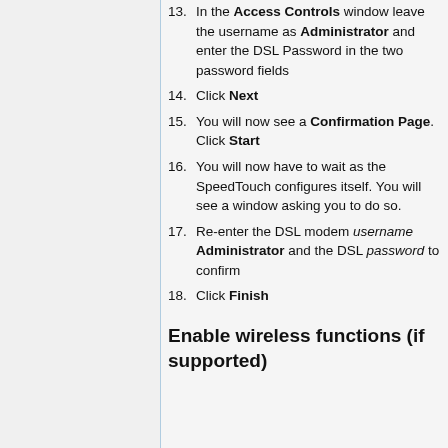13. In the Access Controls window leave the username as Administrator and enter the DSL Password in the two password fields
14. Click Next
15. You will now see a Confirmation Page. Click Start
16. You will now have to wait as the SpeedTouch configures itself. You will see a window asking you to do so.
17. Re-enter the DSL modem username Administrator and the DSL password to confirm
18. Click Finish
Enable wireless functions (if supported)